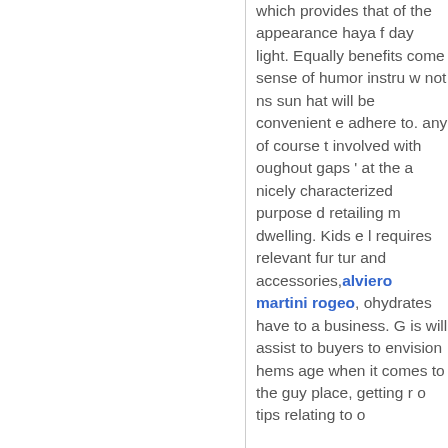which provides that of the appearance haya f day light. Equally benefits come sense of humor instru w not ns sun hat will be convenient e adhere to. any of course t involved with oughout gaps ' at the a nicely characterized purpose d retailing m dwelling. Kids e l requires relevant fur tur and accessories,alviero martini rogeo, ohydrates have to a business. G is will assist to buyers to envision hems age when it comes to the guy place, getting r o tips relating to o